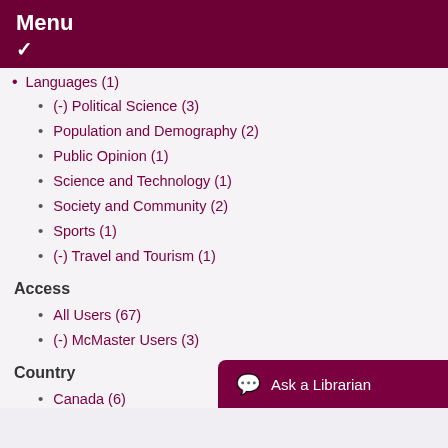Menu
Languages (1)
(-) Political Science (3)
Population and Demography (2)
Public Opinion (1)
Science and Technology (1)
Society and Community (2)
Sports (1)
(-) Travel and Tourism (1)
Access
All Users (67)
(-) McMaster Users (3)
Country
Canada (6)
(-) International (3)
US (4)